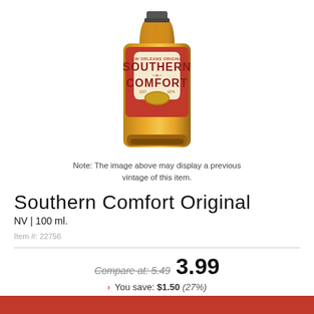[Figure (photo): Southern Comfort Original whiskey bottle with red and cream label reading 'NEW ORLEANS ORIGINAL SOUTHERN COMFORT EST 1874']
Note: The image above may display a previous vintage of this item.
Southern Comfort Original
NV | 100 ml.
Item #: 22756
Compare at: 5.49   3.99
› You save: $1.50 (27%)